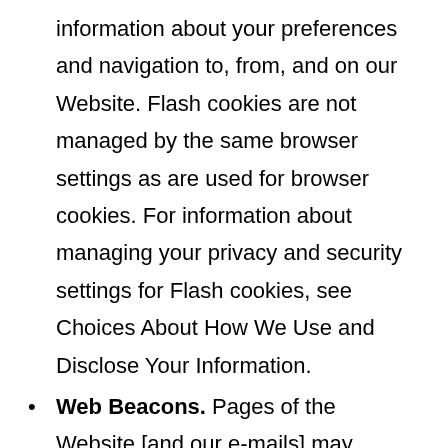information about your preferences and navigation to, from, and on our Website. Flash cookies are not managed by the same browser settings as are used for browser cookies. For information about managing your privacy and security settings for Flash cookies, see Choices About How We Use and Disclose Your Information.
Web Beacons. Pages of the Website [and our e-mails] may contain small electronic files known as web beacons (also referred to as clear gifs, pixel tags, and single-pixel gifs)